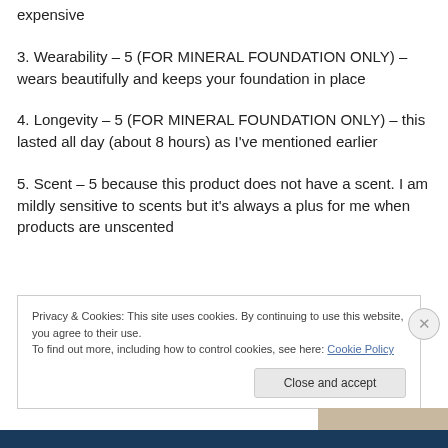expensive
3. Wearability – 5 (FOR MINERAL FOUNDATION ONLY) – wears beautifully and keeps your foundation in place
4. Longevity – 5 (FOR MINERAL FOUNDATION ONLY) – this lasted all day (about 8 hours) as I've mentioned earlier
5. Scent – 5 because this product does not have a scent. I am mildly sensitive to scents but it's always a plus for me when products are unscented
Privacy & Cookies: This site uses cookies. By continuing to use this website, you agree to their use.
To find out more, including how to control cookies, see here: Cookie Policy